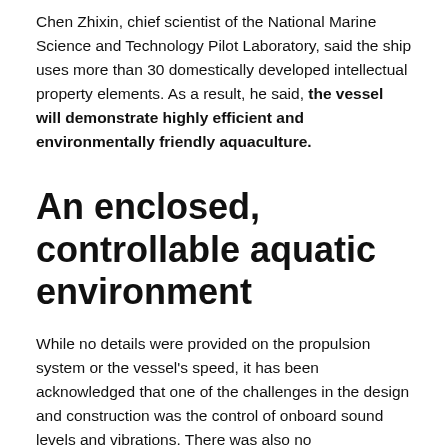Chen Zhixin, chief scientist of the National Marine Science and Technology Pilot Laboratory, said the ship uses more than 30 domestically developed intellectual property elements. As a result, he said, the vessel will demonstrate highly efficient and environmentally friendly aquaculture.
An enclosed, controllable aquatic environment
While no details were provided on the propulsion system or the vessel's speed, it has been acknowledged that one of the challenges in the design and construction was the control of onboard sound levels and vibrations. There was also no